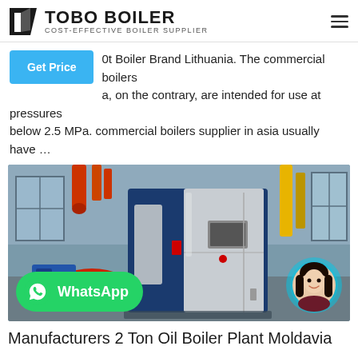TOBO BOILER - COST-EFFECTIVE BOILER SUPPLIER
0t Boiler Brand Lithuania. The commercial boilers a, on the contrary, are intended for use at pressures below 2.5 MPa. commercial boilers supplier in asia usually have …
[Figure (photo): Industrial boiler unit (blue and silver casing) in a factory/warehouse setting with red burner components visible. WhatsApp button overlay at bottom left, chat avatar at bottom right.]
Manufacturers 2 Ton Oil Boiler Plant Moldavia